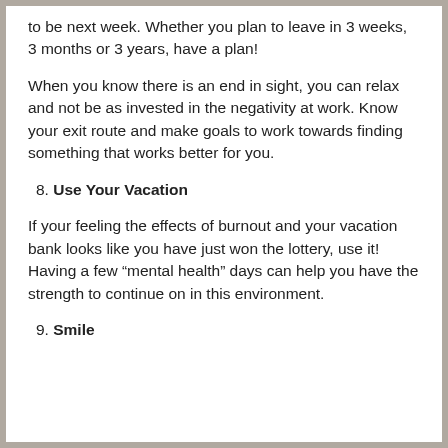to be next week. Whether you plan to leave in 3 weeks, 3 months or 3 years, have a plan!
When you know there is an end in sight, you can relax and not be as invested in the negativity at work. Know your exit route and make goals to work towards finding something that works better for you.
8. Use Your Vacation
If your feeling the effects of burnout and your vacation bank looks like you have just won the lottery, use it! Having a few “mental health” days can help you have the strength to continue on in this environment.
9. Smile